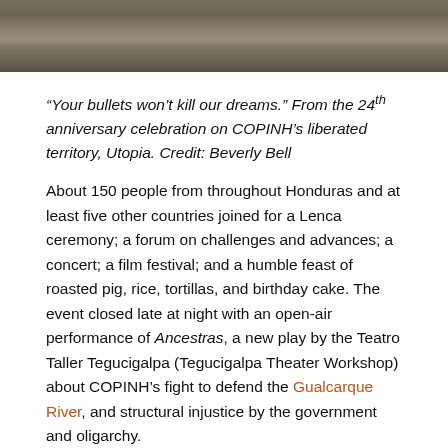[Figure (photo): Partially visible photograph of a dirt or stone ground surface, cropped at the top of the page.]
“Your bullets won’t kill our dreams.” From the 24th anniversary celebration on COPINH’s liberated territory, Utopia. Credit: Beverly Bell
About 150 people from throughout Honduras and at least five other countries joined for a Lenca ceremony; a forum on challenges and advances; a concert; a film festival; and a humble feast of roasted pig, rice, tortillas, and birthday cake. The event closed late at night with an open-air performance of Ancestras, a new play by the Teatro Taller Tegucigalpa (Tegucigalpa Theater Workshop) about COPINH’s fight to defend the Gualcarque River, and structural injustice by the government and oligarchy.
COPNH has not only survived, it continues to serve as a source of inspiration for indigenous and other movements throughout Honduras and the world. As with Berta Cáceres’ life work, COPINH’s goes far beyond environmental defense. Its aim is to